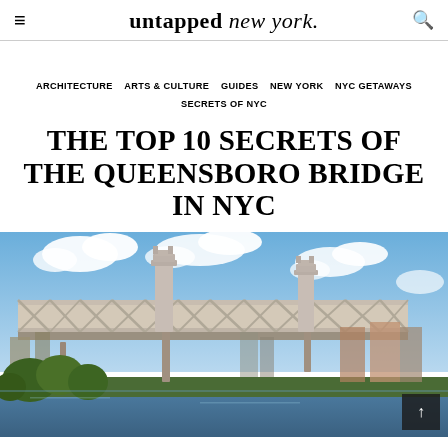untapped new york.
ARCHITECTURE   ARTS & CULTURE   GUIDES   NEW YORK   NYC GETAWAYS   SECRETS OF NYC
THE TOP 10 SECRETS OF THE QUEENSBORO BRIDGE IN NYC
[Figure (photo): Photo of the Queensboro Bridge in New York City, viewed from below and to the side, with a blue sky with clouds in the background and green trees and water in the foreground. A scroll-to-top button is visible in the bottom-right corner of the image.]